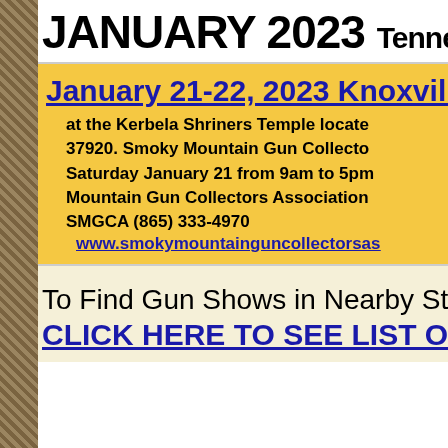JANUARY 2023 Tenne
January 21-22, 2023 Knoxville T
at the Kerbela Shriners Temple located 37920. Smoky Mountain Gun Collectors Association Saturday January 21 from 9am to 5pm Mountain Gun Collectors Association SMGCA (865) 333-4970 www.smokymountainguncollectorsas
To Find Gun Shows in Nearby St
CLICK HERE TO SEE LIST OF